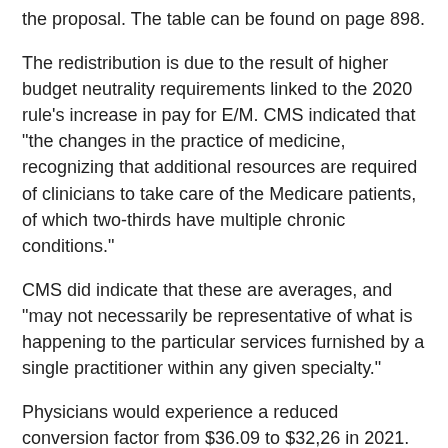the proposal. The table can be found on page 898.
The redistribution is due to the result of higher budget neutrality requirements linked to the 2020 rule's increase in pay for E/M. CMS indicated that “the changes in the practice of medicine, recognizing that additional resources are required of clinicians to take care of the Medicare patients, of which two-thirds have multiple chronic conditions.”
CMS did indicate that these are averages, and “may not necessarily be representative of what is happening to the particular services furnished by a single practitioner within any given specialty.”
Physicians would experience a reduced conversion factor from $36.09 to $32,26 in 2021. The is a result of the adjustment that is necessary for the new E/M payments in the budget neutral system.
E/M Changes in the 2020 Federal Register